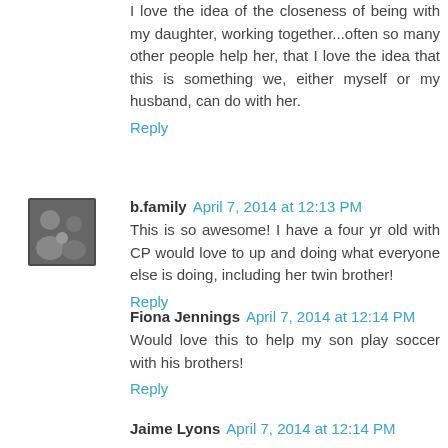I love the idea of the closeness of being with my daughter, working together...often so many other people help her, that I love the idea that this is something we, either myself or my husband, can do with her.
Reply
b.family  April 7, 2014 at 12:13 PM
This is so awesome! I have a four yr old with CP would love to up and doing what everyone else is doing, including her twin brother!
Reply
Fiona Jennings  April 7, 2014 at 12:14 PM
Would love this to help my son play soccer with his brothers!
Reply
Jaime Lyons  April 7, 2014 at 12:14 PM